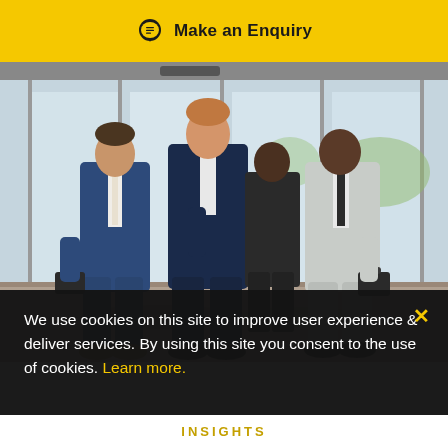Make an Enquiry
[Figure (photo): Three businessmen in suits walking through a modern glass-fronted building lobby, carrying briefcases. One man in a blue suit on the left, one in a dark suit in the center, and one in a light gray suit on the right.]
We use cookies on this site to improve user experience & deliver services. By using this site you consent to the use of cookies. Learn more.
INSIGHTS